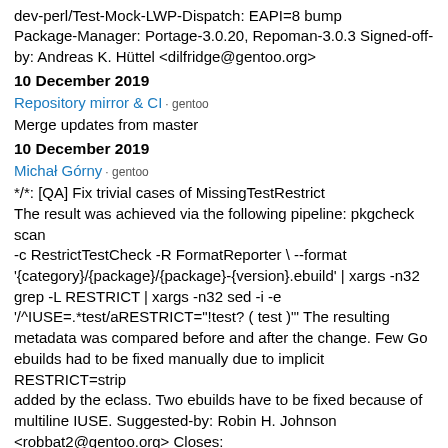dev-perl/Test-Mock-LWP-Dispatch: EAPI=8 bump Package-Manager: Portage-3.0.20, Repoman-3.0.3 Signed-off-by: Andreas K. Hüttel <dilfridge@gentoo.org>
10 December 2019
Repository mirror & CI · gentoo
Merge updates from master
10 December 2019
Michał Górny · gentoo
*/*: [QA] Fix trivial cases of MissingTestRestrict The result was achieved via the following pipeline: pkgcheck scan -c RestrictTestCheck -R FormatReporter \ --format '{category}/{package}/{package}-{version}.ebuild' | xargs -n32 grep -L RESTRICT | xargs -n32 sed -i -e '/^IUSE=.*test/aRESTRICT="!test? ( test )"' The resulting metadata was compared before and after the change. Few Go ebuilds had to be fixed manually due to implicit RESTRICT=strip added by the eclass. Two ebuilds have to be fixed because of multiline IUSE. Suggested-by: Robin H. Johnson <robbat2@gentoo.org> Closes: https://github.com/gentoo/gentoo/pull/13942 Signed-off-by: Michał Górny <mgorny@gentoo.org>
05 June 2019